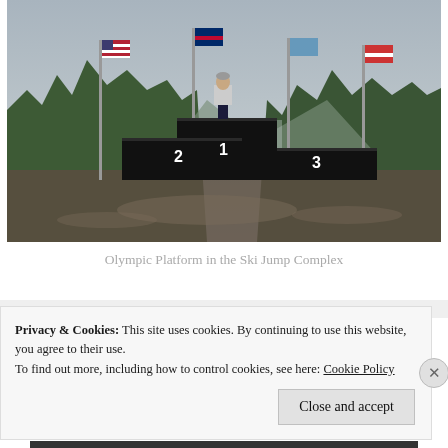[Figure (photo): A person standing on the first-place position of an Olympic-style podium (numbered 1, 2, 3) with flag poles and flags around them, surrounded by trees and mountains in the background on a rainy day.]
Olympic Platform in the Ski Jump Complex
Privacy & Cookies: This site uses cookies. By continuing to use this website, you agree to their use.
To find out more, including how to control cookies, see here: Cookie Policy
Close and accept